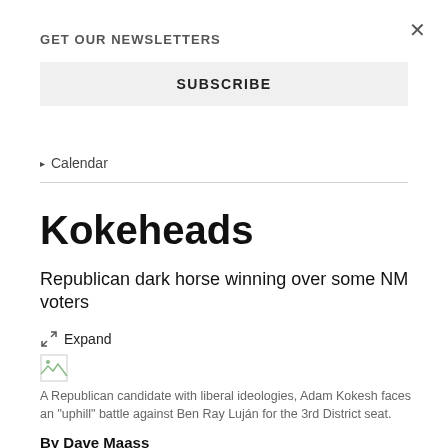GET OUR NEWSLETTERS
SUBSCRIBE
Calendar
Kokeheads
Republican dark horse winning over some NM voters
Expand
A Republican candidate with liberal ideologies, Adam Kokesh faces an "uphill" battle against Ben Ray Luján for the 3rd District seat.
By Dave Maass